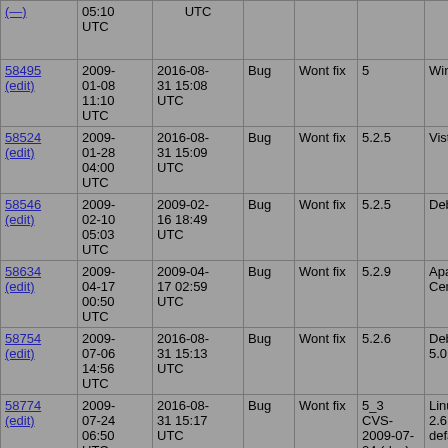| ID | Created | Modified | Type | Status | Version | OS | Summary |
| --- | --- | --- | --- | --- | --- | --- | --- |
| (—) | 05:10 UTC | UTC |  |  |  |  | — |
| 58495 (edit) | 2009-01-08 11:10 UTC | 2016-08-31 15:08 UTC | Bug | Wont fix | 5 | Windows | Memor no reas |
| 58524 (edit) | 2009-01-28 04:00 UTC | 2016-08-31 15:09 UTC | Bug | Wont fix | 5.2.5 | Vista | dispato |
| 58546 (edit) | 2009-02-10 05:03 UTC | 2009-02-16 18:49 UTC | Bug | Wont fix | 5.2.5 | Debian | shm_si set in h |
| 58634 (edit) | 2009-04-17 00:50 UTC | 2009-04-17 02:59 UTC | Bug | Wont fix | 5.2.9 | Apache/1.3.41 CentOS | APC st delete |
| 58754 (edit) | 2009-07-06 14:56 UTC | 2016-08-31 15:13 UTC | Bug | Wont fix | 5.2.6 | Debian Linux 5.0 (x86_64) | apc str php file tmpfs |
| 58774 (edit) | 2009-07-24 06:50 UTC | 2016-08-31 15:17 UTC | Bug | Wont fix | 5_3 CVS-2009-07-24 (dev) | Linux version 2.6.22.19-0.2-defa | [require be igno |